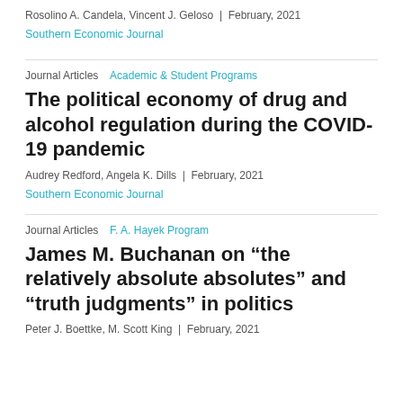Rosolino A. Candela, Vincent J. Geloso  |  February, 2021
Southern Economic Journal
Journal Articles   Academic & Student Programs
The political economy of drug and alcohol regulation during the COVID-19 pandemic
Audrey Redford, Angela K. Dills  |  February, 2021
Southern Economic Journal
Journal Articles   F. A. Hayek Program
James M. Buchanan on “the relatively absolute absolutes” and “truth judgments” in politics
Peter J. Boettke, M. Scott King  |  February, 2021